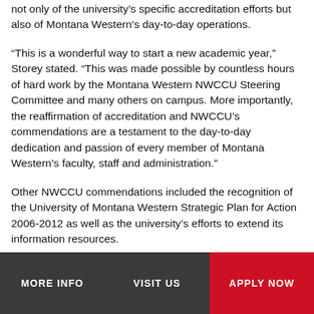not only of the university's specific accreditation efforts but also of Montana Western's day-to-day operations.
"This is a wonderful way to start a new academic year," Storey stated. "This was made possible by countless hours of hard work by the Montana Western NWCCU Steering Committee and many others on campus. More importantly, the reaffirmation of accreditation and NWCCU's commendations are a testament to the day-to-day dedication and passion of every member of Montana Western's faculty, staff and administration."
Other NWCCU commendations included the recognition of the University of Montana Western Strategic Plan for Action 2006-2012 as well as the university's efforts to extend its information resources.
"The evaluation team commends the University of
MORE INFO   VISIT US   APPLY NOW